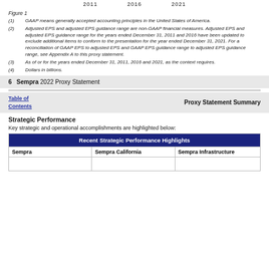2011   2016   2021
Figure 1
(1) GAAP means generally accepted accounting principles in the United States of America.
(2) Adjusted EPS and adjusted EPS guidance range are non-GAAP financial measures. Adjusted EPS and adjusted EPS guidance range for the years ended December 31, 2011 and 2016 have been updated to exclude additional items to conform to the presentation for the year ended December 31, 2021. For a reconciliation of GAAP EPS to adjusted EPS and GAAP EPS guidance range to adjusted EPS guidance range, see Appendix A to this proxy statement.
(3) As of or for the years ended December 31, 2011, 2016 and 2021, as the context requires.
(4) Dollars in billions.
6   Sempra 2022 Proxy Statement
Table of Contents   Proxy Statement Summary
Strategic Performance
Key strategic and operational accomplishments are highlighted below:
| Sempra | Sempra California | Sempra Infrastructure |
| --- | --- | --- |